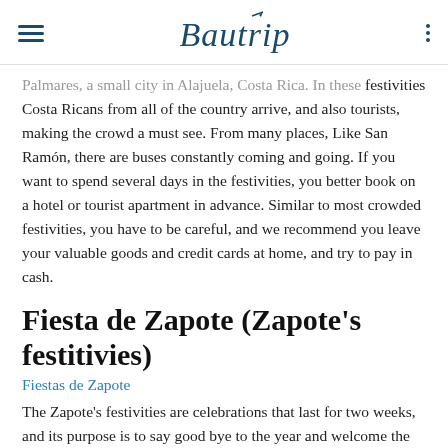Bautrip
Palmares, a small city in Alajuela, Costa Rica. In these festivities Costa Ricans from all of the country arrive, and also tourists, making the crowd a must see. From many places, Like San Ramón, there are buses constantly coming and going. If you want to spend several days in the festivities, you better book on a hotel or tourist apartment in advance. Similar to most crowded festivities, you have to be careful, and we recommend you leave your valuable goods and credit cards at home, and try to pay in cash.
Fiesta de Zapote (Zapote's festitivies)
Fiestas de Zapote
The Zapote's festivities are celebrations that last for two weeks, and its purpose is to say good bye to the year and welcome the next one. It is celebrated on San José, although people from all over the country and tourist